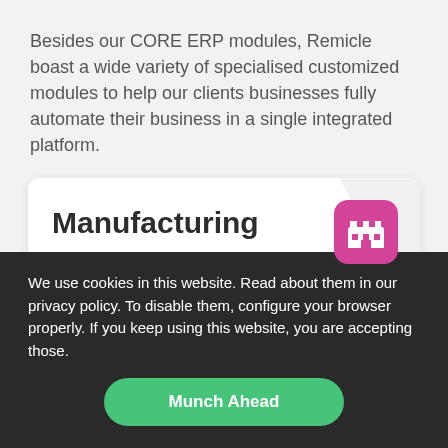Besides our CORE ERP modules, Remicle boast a wide variety of specialised customized modules to help our clients businesses fully automate their business in a single integrated platform.
[Figure (infographic): A white card with rounded corners showing the 'Manufacturing' module. Contains a large bold title 'Manufacturing', subtitle 'Full-featured and integrated manufacturing and MRP', a teal underline, a grey diagonal background shape, and a pink/magenta rounded square icon with a factory building symbol.]
We use cookies in this website. Read about them in our privacy policy. To disable them, configure your browser properly. If you keep using this website, you are accepting those.
Munch Ahead